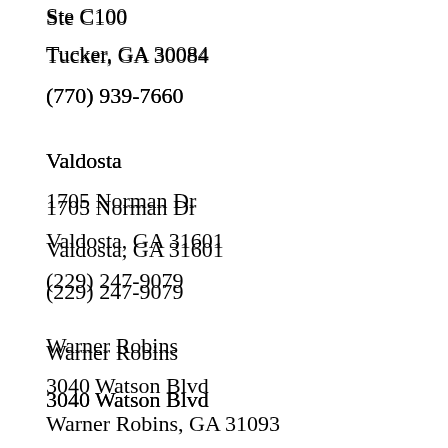Ste C100
Tucker, GA 30084
(770) 939-7660
Valdosta
1705 Norman Dr
Valdosta, GA 31601
(229) 247-9079
Warner Robins
3040 Watson Blvd
Warner Robins, GA 31093
(478) 971-4445
Hawaii